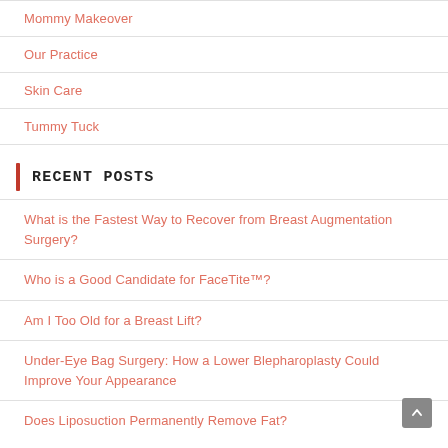Mommy Makeover
Our Practice
Skin Care
Tummy Tuck
Recent Posts
What is the Fastest Way to Recover from Breast Augmentation Surgery?
Who is a Good Candidate for FaceTite™?
Am I Too Old for a Breast Lift?
Under-Eye Bag Surgery: How a Lower Blepharoplasty Could Improve Your Appearance
Does Liposuction Permanently Remove Fat?